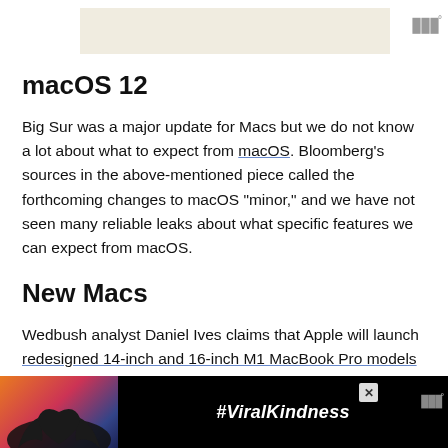[Figure (other): Top banner image placeholder with beige/tan background, with a small icon of three vertical bars (menu/app icon) in the upper right corner]
macOS 12
Big Sur was a major update for Macs but we do not know a lot about what to expect from macOS. Bloomberg’s sources in the above-mentioned piece called the forthcoming changes to macOS “minor,” and we have not seen many reliable leaks about what specific features we can expect from macOS.
New Macs
Wedbush analyst Daniel Ives claims that Apple will launch redesigned 14-inch and 16-inch M1 MacBook Pro models at WWDC 21. Reports of
[Figure (photo): Bottom advertisement banner with black background, showing a silhouette of hands making a heart shape against a colorful sunset sky, with text #ViralKindness in white italic bold font, a close (X) button, and a small icon on the right]